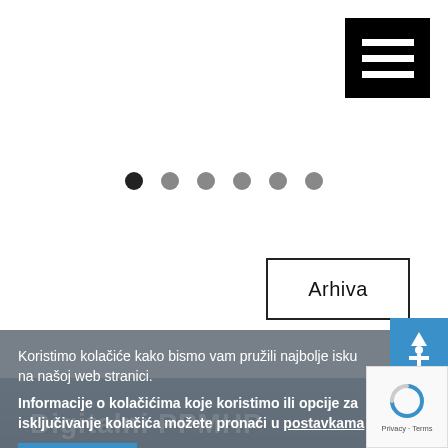[Figure (screenshot): Black hamburger menu button (three white horizontal lines on black background) in top-right corner]
[Figure (infographic): Carousel navigation dots: one filled dark (active), five light gray]
[Figure (other): Arhiva button - outlined box with text 'Arhiva']
Koristimo kolačiće kako bismo vam pružili najbolje isku na našoj web stranici.
Informacije o kolačićima koje koristimo ili opcije za isključivanje kolačića možete pronaći u postavkama
Prihvaćam
Digitalni PPMHP